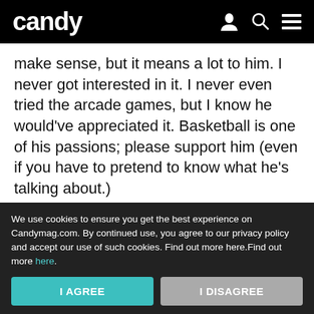candy
make sense, but it means a lot to him. I never got interested in it. I never even tried the arcade games, but I know he would've appreciated it. Basketball is one of his passions; please support him (even if you have to pretend to know what he's talking about.)
Second, force him to do better in school. You and I both know he has a hard time, but he can do amazing things if he just
[Figure (other): Read on App pill button overlay]
We use cookies to ensure you get the best experience on Candymag.com. By continued use, you agree to our privacy policy and accept our use of such cookies. Find out more here.Find out more here.
I AGREE | I DISAGREE